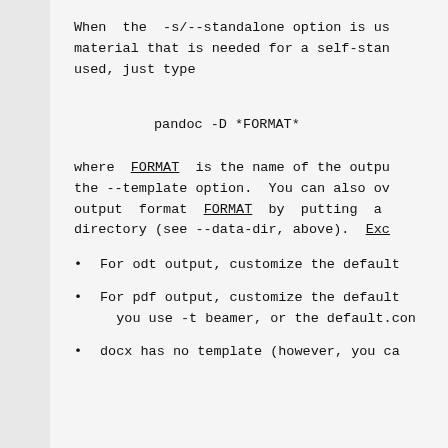When  the  -s/--standalone option is used, material that is needed for a self-standing document is used, just type
pandoc -D *FORMAT*
where FORMAT is the name of the output format, the --template option.  You can also override the output format FORMAT by putting a file in the directory (see --data-dir, above).  Exc
For odt output, customize the default
For pdf output, customize the default you use -t beamer, or the default.con
docx has no template (however, you ca